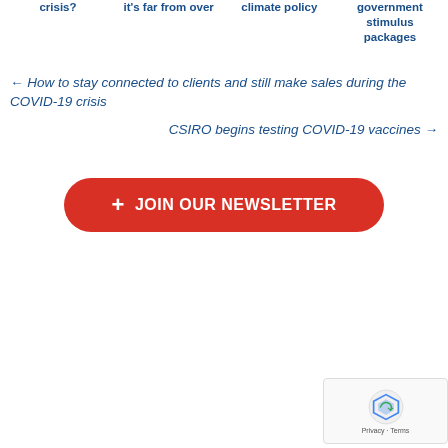crisis?
it's far from over
climate policy
government stimulus packages
← How to stay connected to clients and still make sales during the COVID-19 crisis
CSIRO begins testing COVID-19 vaccines →
+ JOIN OUR NEWSLETTER